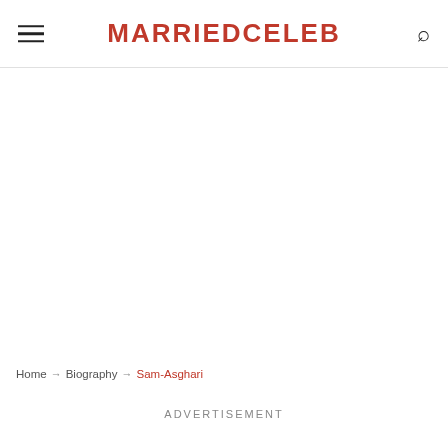MARRIEDCELEB
Home → Biography → Sam-Asghari
ADVERTISEMENT